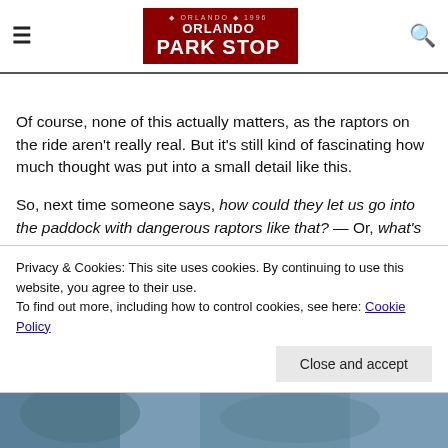Orlando Park Stop
Of course, none of this actually matters, as the raptors on the ride aren't really real. But it's still kind of fascinating how much thought was put into a small detail like this.
So, next time someone says, how could they let us go into the paddock with dangerous raptors like that? — Or, what's
Privacy & Cookies: This site uses cookies. By continuing to use this website, you agree to their use.
To find out more, including how to control cookies, see here: Cookie Policy
Close and accept